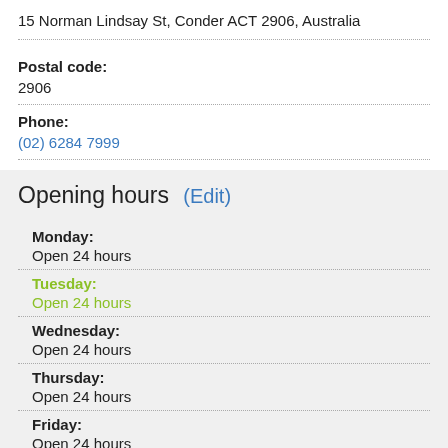15 Norman Lindsay St, Conder ACT 2906, Australia
Postal code:
2906
Phone:
(02) 6284 7999
Opening hours (Edit)
Monday: Open 24 hours
Tuesday: Open 24 hours
Wednesday: Open 24 hours
Thursday: Open 24 hours
Friday: Open 24 hours
Saturday: Open 24 hours